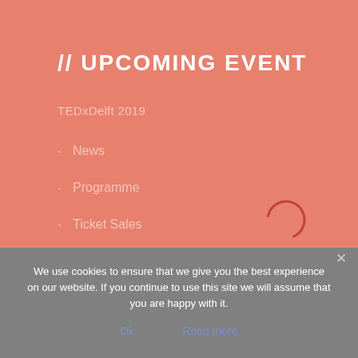// UPCOMING EVENT
TEDxDelft 2019
News
Programme
Ticket Sales
[Figure (other): Loading spinner circle, partially visible arc in dark red/salmon color]
We use cookies to ensure that we give you the best experience on our website. If you continue to use this site we will assume that you are happy with it.
Ok    Read more